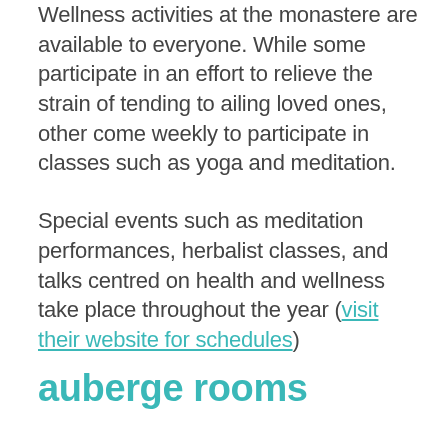Wellness activities at the monastere are available to everyone. While some participate in an effort to relieve the strain of tending to ailing loved ones, other come weekly to participate in classes such as yoga and meditation.
Special events such as meditation performances, herbalist classes, and talks centred on health and wellness take place throughout the year (visit their website for schedules)
auberge rooms